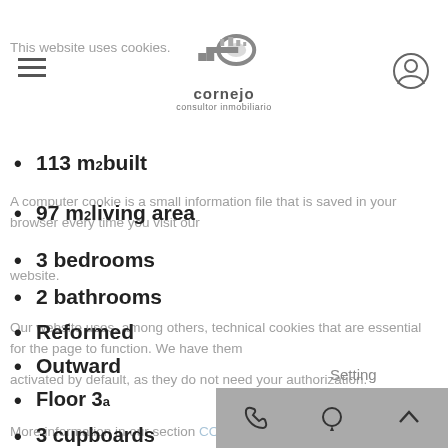Cornejo consultor inmobiliario
This website uses cookies. A computer cookie is a small information file that is saved in your browser every time you visit our website. Our website uses, among others, technical cookies that are essential for the page to function. We have them activated by default, as they do not need your authorization. More information in our section COOKIES POLICY.
113 m² built
97 m² living area
3 bedrooms
2 bathrooms
Reformed
Outward
Floor 3ª
3 cupboards
1 terraces
9 m² of terrace
More than 30 years
Floor parquet